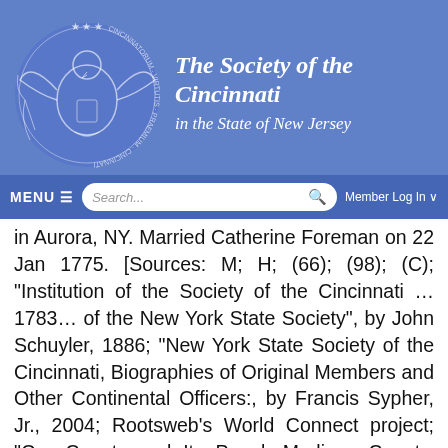The Society of the Cincinnati in the State of New Jersey
in Aurora, NY. Married Catherine Foreman on 22 Jan 1775. [Sources: M; H; (66); (98); (C); "Institution of the Society of the Cincinnati ... 1783... of the New York State Society", by John Schuyler, 1886; "New York State Society of the Cincinnati, Biographies of Original Members and Other Continental Officers:, by Francis Sypher, Jr., 2004; Rootsweb's World Connect project; "Our County and Its People-Madison County, NY".Pic: Painting owned by the New York State Office of Parks, recreation and Historic Preservation.]